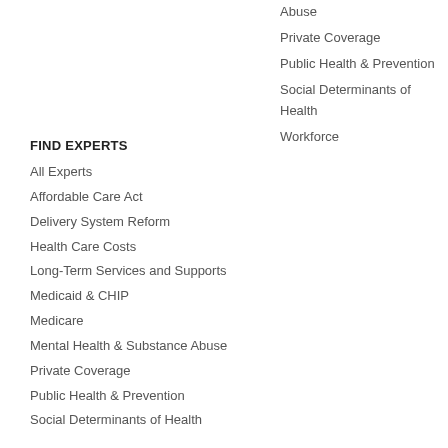Abuse
Private Coverage
Public Health & Prevention
Social Determinants of Health
Workforce
FIND EXPERTS
All Experts
Affordable Care Act
Delivery System Reform
Health Care Costs
Long-Term Services and Supports
Medicaid & CHIP
Medicare
Mental Health & Substance Abuse
Private Coverage
Public Health & Prevention
Social Determinants of Health